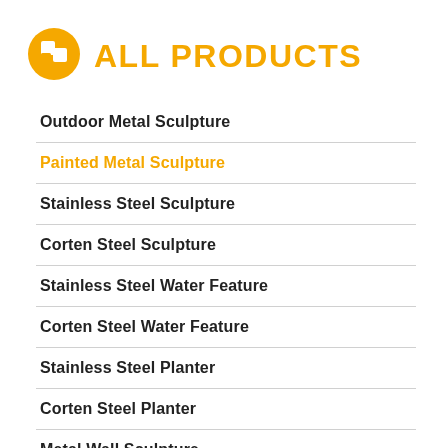ALL PRODUCTS
Outdoor Metal Sculpture
Painted Metal Sculpture
Stainless Steel Sculpture
Corten Steel Sculpture
Stainless Steel Water Feature
Corten Steel Water Feature
Stainless Steel Planter
Corten Steel Planter
Metal Wall Sculpture